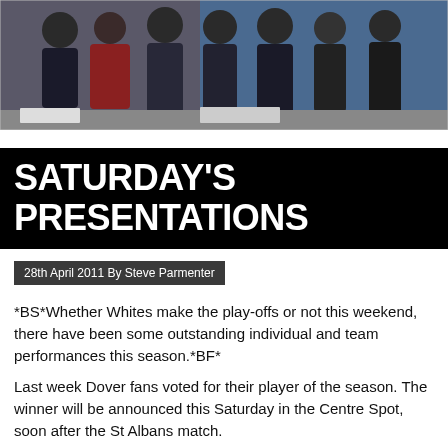[Figure (photo): Group of people, possibly sports fans or team members, photographed from a slight distance outdoors. Dark clothing visible against a blue background.]
SATURDAY'S PRESENTATIONS
28th April 2011 By Steve Parmenter
*BS*Whether Whites make the play-offs or not this weekend, there have been some outstanding individual and team performances this season.*BF*
Last week Dover fans voted for their player of the season. The winner will be announced this Saturday in the Centre Spot, soon after the St Albans match.
It is the final opportunity to show your appreciation for the efforts of players, staff and volunteers who have contributed